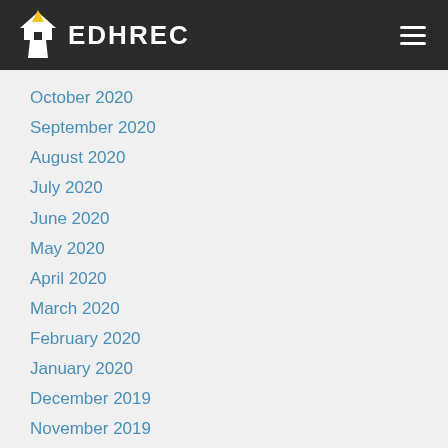EDHREC
October 2020
September 2020
August 2020
July 2020
June 2020
May 2020
April 2020
March 2020
February 2020
January 2020
December 2019
November 2019
October 2019
September 2019
August 2019
July 2019
June 2019
May 2019
April 2019
March 2019